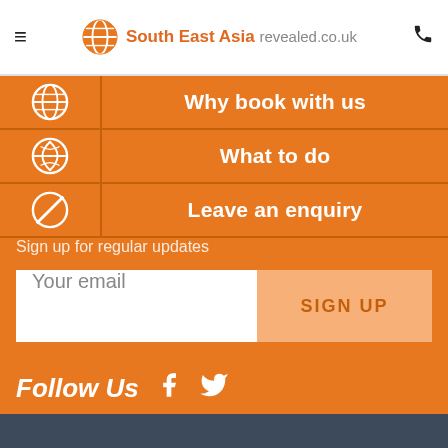South East Asia revealed.co.uk
Why book with us
What to do
Leave an enquiry
Sign up for regular updates
Your email
SIGN UP
Follow Us